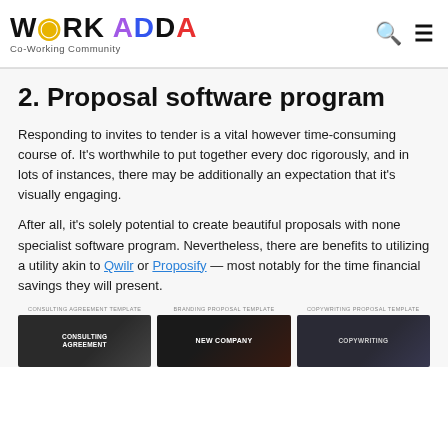[Figure (logo): Work Adda Co-Working Community logo with colorful letters and search/menu icons]
2. Proposal software program
Responding to invites to tender is a vital however time-consuming course of. It's worthwhile to put together every doc rigorously, and in lots of instances, there may be additionally an expectation that it's visually engaging.
After all, it's solely potential to create beautiful proposals with none specialist software program. Nevertheless, there are benefits to utilizing a utility akin to Qwilr or Proposify — most notably for the time financial savings they will present.
[Figure (screenshot): Three proposal template thumbnails: Consulting Agreement Template, Branding Proposal Template, Copywriting Proposal Template]